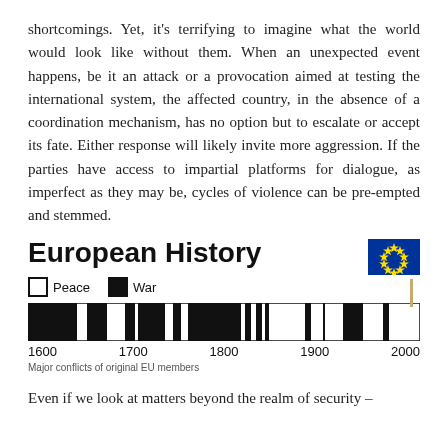shortcomings. Yet, it's terrifying to imagine what the world would look like without them. When an unexpected event happens, be it an attack or a provocation aimed at testing the international system, the affected country, in the absence of a coordination mechanism, has no option but to escalate or accept its fate. Either response will likely invite more aggression. If the parties have access to impartial platforms for dialogue, as imperfect as they may be, cycles of violence can be pre-empted and stemmed.
[Figure (infographic): European History infographic showing a timeline bar from 1600 to 2000 with alternating black (War) and white (Peace) segments. An EU flag is shown on a stick above the right portion of the bar (near ~1957). Caption reads: Major conflicts of original EU members.]
Major conflicts of original EU members
Even if we look at matters beyond the realm of security –